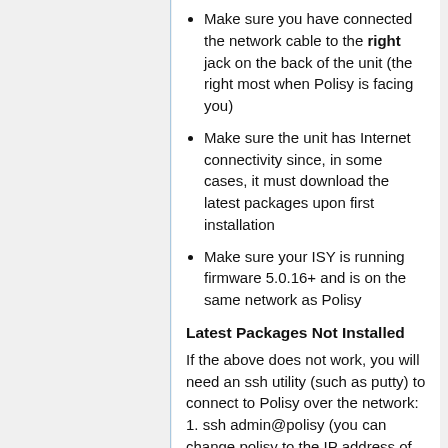Make sure you have connected the network cable to the right jack on the back of the unit (the right most when Polisy is facing you)
Make sure the unit has Internet connectivity since, in some cases, it must download the latest packages upon first installation
Make sure your ISY is running firmware 5.0.16+ and is on the same network as Polisy
Latest Packages Not Installed
If the above does not work, you will need an ssh utility (such as putty) to connect to Polisy over the network: 1. ssh admin@polisy (you can change polisy to the IP address of your unit) 2. Default password is admin. Once this process is done, please change it 3. Run the following commands: